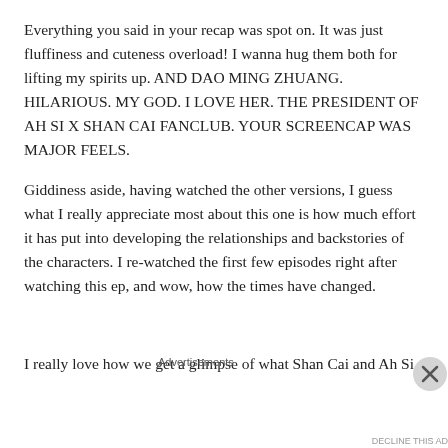Everything you said in your recap was spot on. It was just fluffiness and cuteness overload! I wanna hug them both for lifting my spirits up. AND DAO MING ZHUANG. HILARIOUS. MY GOD. I LOVE HER. THE PRESIDENT OF AH SI X SHAN CAI FANCLUB. YOUR SCREENCAP WAS MAJOR FEELS.
Giddiness aside, having watched the other versions, I guess what I really appreciate most about this one is how much effort it has put into developing the relationships and backstories of the characters. I re-watched the first few episodes right after watching this ep, and wow, how the times have changed.
I really love how we get a glimpse of what Shan Cai and Ah Si
[Figure (other): Seamless food delivery advertisement banner with pizza image on left, Seamless logo in red pill, and ORDER NOW button in white border box on dark background]